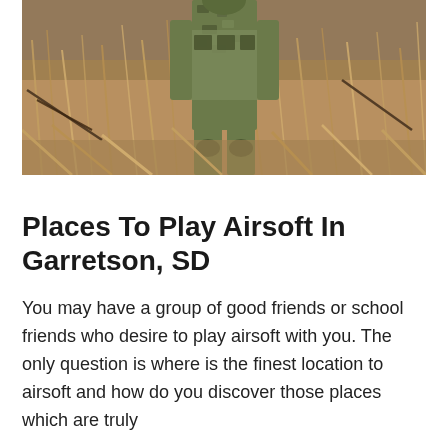[Figure (photo): A person in military-style camouflage gear walking through dry brown grass/reeds outdoors, viewed from behind/side.]
Places To Play Airsoft In Garretson, SD
You may have a group of good friends or school friends who desire to play airsoft with you. The only question is where is the finest location to airsoft and how do you discover those places which are truly